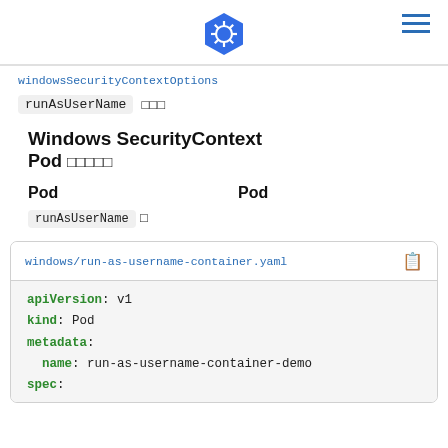Kubernetes logo and navigation header
windowsSecurityContextOptions (truncated link)
runAsUserName □□□
Windows SecurityContext
Pod □□□□□
Pod    Pod
runAsUserName □
windows/run-as-username-container.yaml
apiVersion: v1
kind: Pod
metadata:
  name: run-as-username-container-demo
spec: